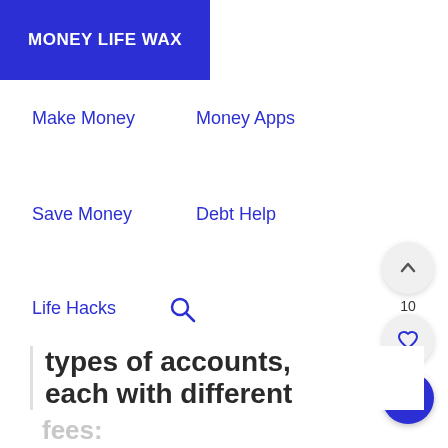MONEY LIFE WAX
Make Money
Money Apps
Save Money
Debt Help
Life Hacks
types of accounts, each with different
fees: